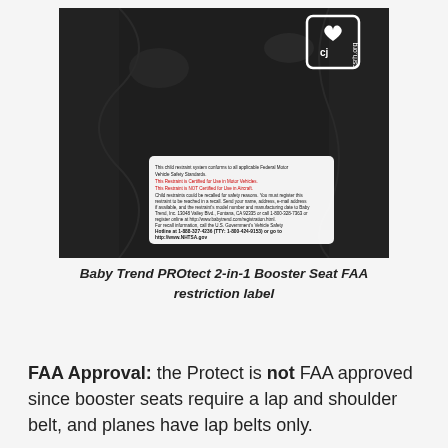[Figure (photo): Photo of a Baby Trend PROtect 2-in-1 Booster Seat showing the FAA restriction label on the underside of the seat. The label contains text including federal motor vehicle safety standards compliance, certification for use in motor vehicles (in red), NOT certified for use in Aircraft (in red), and recall/safety information including the U.S. Government's Vehicle Safety Hotline number 1-888-327-4236 and NHTSA.gov website. A CSRH.org logo appears in the upper right corner of the photo.]
Baby Trend PROtect 2-in-1 Booster Seat FAA restriction label
FAA Approval: the Protect is not FAA approved since booster seats require a lap and shoulder belt, and planes have lap belts only.